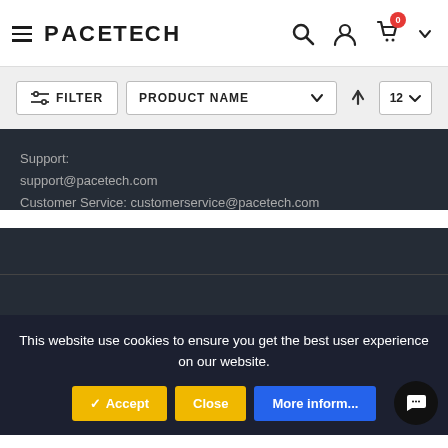PACETECH - navigation header with hamburger menu, search, account, cart (0) icons
FILTER   PRODUCT NAME ⌄ ↑   12 ⌄
Support:
support@pacetech.com
Customer Service: customerservice@pacetech.com
This website use cookies to ensure you get the best user experience on our website.
✓ Accept   Close   More information